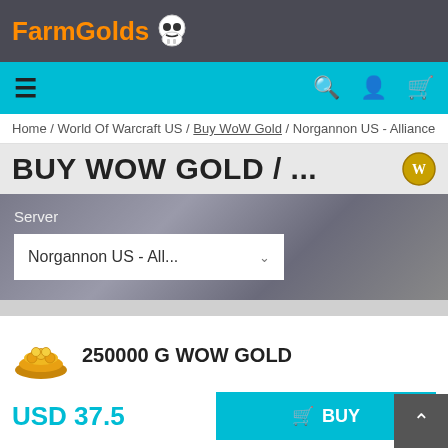FarmGolds
≡  🔍  👤  🛒
Home / World Of Warcraft US / Buy WoW Gold / Norgannon US - Alliance
BUY WOW GOLD / ...
Server
Norgannon US - All...
250000 G WOW GOLD
USD 37.5
BUY